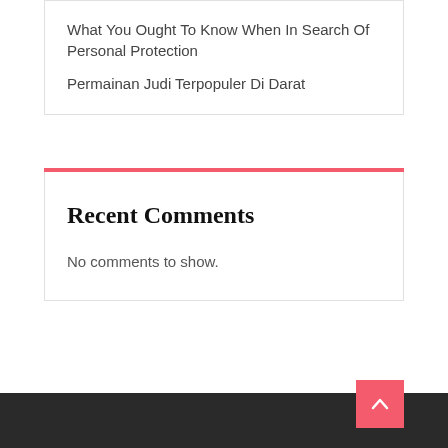What You Ought To Know When In Search Of Personal Protection
Permainan Judi Terpopuler Di Darat
Recent Comments
No comments to show.